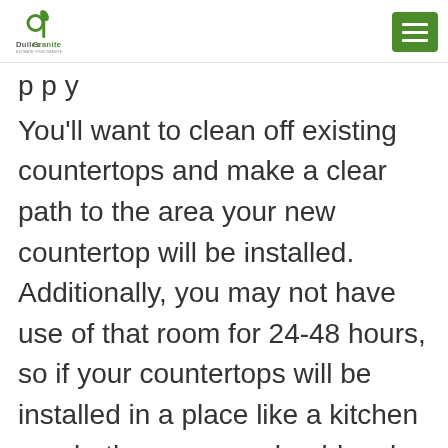Dulles Granite
p p y
You'll want to clean off existing countertops and make a clear path to the area your new countertop will be installed. Additionally, you may not have use of that room for 24-48 hours, so if your countertops will be installed in a place like a kitchen or a bathroom, you should make other arrangements for that time period. You may need to